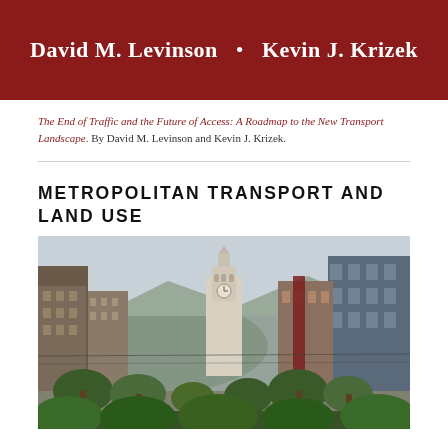David M. Levinson  •  Kevin J. Krizek
The End of Traffic and the Future of Access: A Roadmap to the New Transport Landscape. By David M. Levinson and Kevin J. Krizek.
METROPOLITAN TRANSPORT AND LAND USE
[Figure (photo): Street-level photograph of an urban boulevard looking toward the Ferry Building clock tower in San Francisco, with tall buildings on both sides, trees lining the street, and hills visible in the background.]